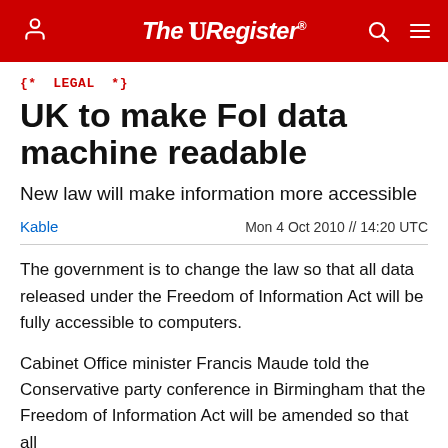The Register
{* LEGAL *}
UK to make FoI data machine readable
New law will make information more accessible
Kable   Mon 4 Oct 2010 // 14:20 UTC
The government is to change the law so that all data released under the Freedom of Information Act will be fully accessible to computers.
Cabinet Office minister Francis Maude told the Conservative party conference in Birmingham that the Freedom of Information Act will be amended so that all